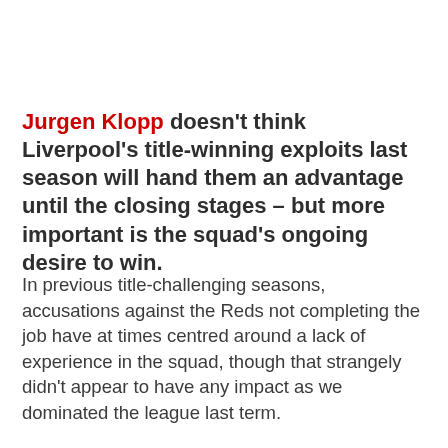Jurgen Klopp doesn't think Liverpool's title-winning exploits last season will hand them an advantage until the closing stages – but more important is the squad's ongoing desire to win.
In previous title-challenging seasons, accusations against the Reds not completing the job have at times centred around a lack of experience in the squad, though that strangely didn't appear to have any impact as we dominated the league last term.